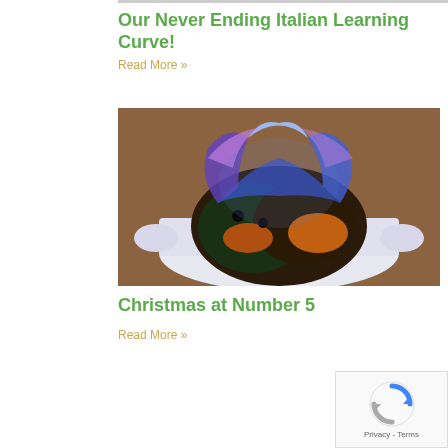Our Never Ending Italian Learning Curve!
Read More »
[Figure (photo): A Christmas pudding on fire with blue and purple flames in a white ceramic dish]
Christmas at Number 5
Read More »
[Figure (logo): reCAPTCHA logo with Privacy and Terms text]